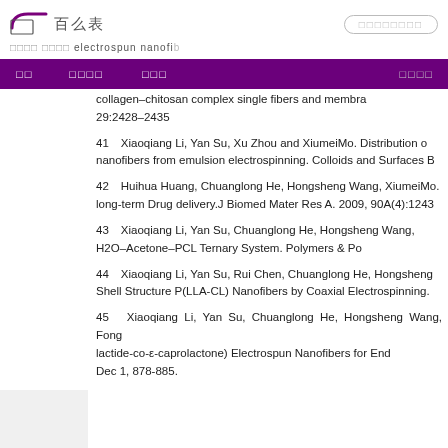百分表 (logo/header area with search box)
百分表 搜索词 electrospun nanofib...
首页  学术论文  electrospun nanofibers
collagen&ndash;chitosan complex single fibers and membranes. 29:2428&ndash;2435
41　Xiaoqiang Li, Yan Su, Xu Zhou and XiumeiMo. Distribution of nanofibers from emulsion electrospinning. Colloids and Surfaces B
42　Huihua Huang, Chuanglong He, Hongsheng Wang, XiumeiMo. long-term Drug delivery.J Biomed Mater Res A. 2009, 90A(4):1243
43　Xiaoqiang Li, Yan Su, Chuanglong He, Hongsheng Wang, H2O&ndash;Acetone&ndash;PCL Ternary System. Polymers & Po
44　Xiaoqiang Li, Yan Su, Rui Chen, Chuanglong He, Hongsheng Shell Structure P(LLA-CL) Nanofibers by Coaxial Electrospinning.
45　Xiaoqiang Li, Yan Su, Chuanglong He, Hongsheng Wang, Fong lactide-co-&epsilon;-caprolactone) Electrospun Nanofibers for Endo Dec 1, 878-885.